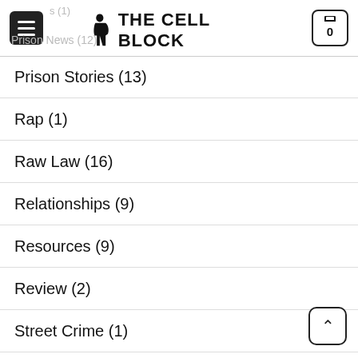THE CELL BLOCK
Prison Stories (13)
Rap (1)
Raw Law (16)
Relationships (9)
Resources (9)
Review (2)
Street Crime (1)
Street Kings (3)
Trap Tales (5)
True Crime (8)